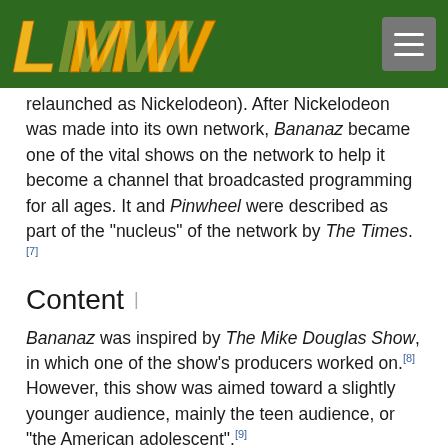LMW logo and navigation menu
relaunched as Nickelodeon). After Nickelodeon was made into its own network, Bananaz became one of the vital shows on the network to help it become a channel that broadcasted programming for all ages. It and Pinwheel were described as part of the “nucleus” of the network by The Times.[7]
Content
Bananaz was inspired by The Mike Douglas Show, in which one of the show’s producers worked on.[8] However, this show was aimed toward a slightly younger audience, mainly the teen audience, or “the American adolescent”.[9]
Segments on the show included a karate segment, polls for the audience, and advice columns where